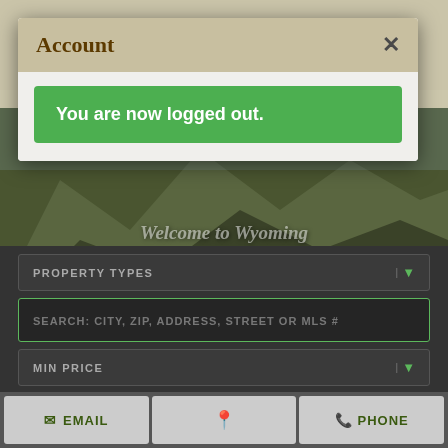[Figure (screenshot): Real estate website screenshot showing a Wyoming landscape hero image with mountains and river, a modal dialog with account logout message, property search dropdowns, and bottom navigation bar with Email, location pin, and Phone buttons.]
Account
You are now logged out.
Welcome to Wyoming where you can make your own unique footprints
PROPERTY TYPES
SEARCH: CITY, ZIP, ADDRESS, STREET OR MLS #
MIN PRICE
EMAIL
PHONE